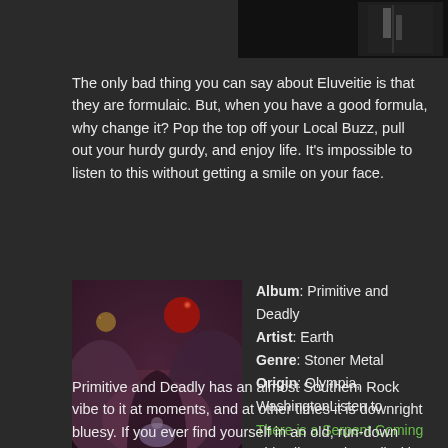[Figure (photo): Partial album/artist photo visible at top right, dark background]
The only bad thing you can say about Eluveitie is that they are formulaic.  But, when you have a good formula, why change it?  Pop the top off your Local Buzz, pull out your hurdy gurdy, and enjoy life.  It's impossible to listen to this without getting a smile on your face.
[Figure (photo): Album cover art for Primitive and Deadly by Earth — dark fantasy scene with red planet, rocky formations, purple hues]
Album: Primitive and Deadly
Artist: Earth
Genre: Stoner Metal
Origin: Olympia, WashingtonListen to
There is a Serpent Coming
This album pairs well with Revolver Blood and Honey.
Primitive and Deadly has an almost Southern Rock vibe to it at moments, and at other times it is downright bluesy.  If you ever find yourself in an old, run-down saloon, ask the bartender for